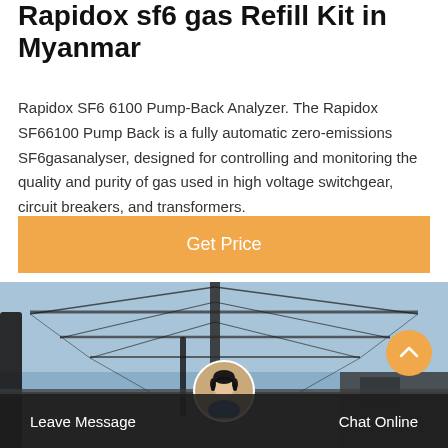Rapidox sf6 gas Refill Kit in Myanmar
Rapidox SF6 6100 Pump-Back Analyzer. The Rapidox SF66100 Pump Back is a fully automatic zero-emissions SF6gasanalyser, designed for controlling and monitoring the quality and purity of gas used in high voltage switchgear, circuit breakers, and transformers.
Get Price
[Figure (photo): Outdoor electrical power transmission tower/pylon with metal lattice structure against a blue sky, with blurred foreground equipment.]
Leave Message   Chat Online